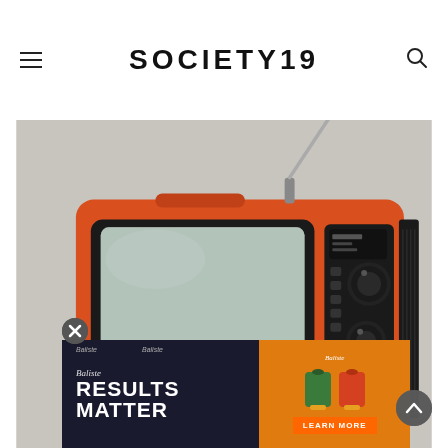SOCIETY19
[Figure (photo): Vintage orange Panasonic portable television with antenna extended, black screen and control knobs visible on right side, set against a light gray background]
[Figure (infographic): Advertisement banner for Baliste brand. Dark left panel reads 'RESULTS MATTER' in large white bold text with Baliste branding. Right orange panel shows product images and a 'LEARN MORE' button. Close button (X) in top-left corner.]